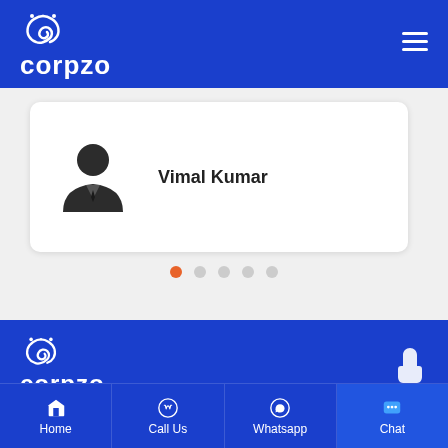[Figure (logo): Corpzo logo with knot icon in white on blue header background]
[Figure (screenshot): Profile card with silhouette avatar and name Vimal Kumar]
Vimal Kumar
[Figure (infographic): Carousel pagination dots: 5 dots, first one active (orange), rest grey]
[Figure (logo): Corpzo logo in white on blue footer background]
Address : G 10, Sector 63, Noida
Home  Call Us  Whatsapp  Chat